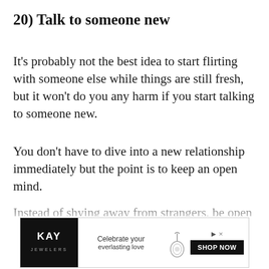20) Talk to someone new
It's probably not the best idea to start flirting with someone else while things are still fresh, but it won't do you any harm if you start talking to someone new.
You don't have to dive into a new relationship immediately but the point is to keep an open mind.
Instead of shying away from strangers, be open to the possibility of meeting someone new.
The goal isn't to get into a relationship; it's just an easy way to open up your horizons and remind yourse…
[Figure (other): Kay Jewelers advertisement banner with logo, 'Celebrate your everlasting love' tagline, pendant image, and SHOP NOW button]